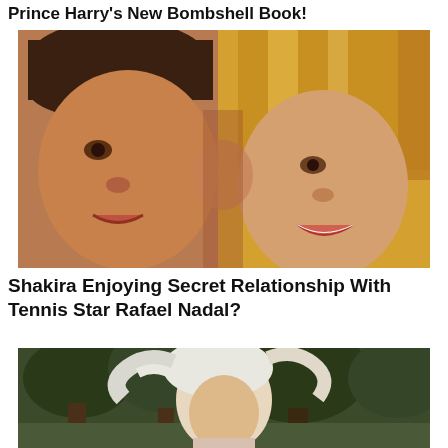Prince Harry's New Bombshell Book!
[Figure (photo): Close-up photo of a young man with dark wavy hair and a blonde woman cheek to cheek, smiling]
Shakira Enjoying Secret Relationship With Tennis Star Rafael Nadal?
[Figure (photo): Photo of a blonde woman with wind-blown hair outdoors with trees in background]